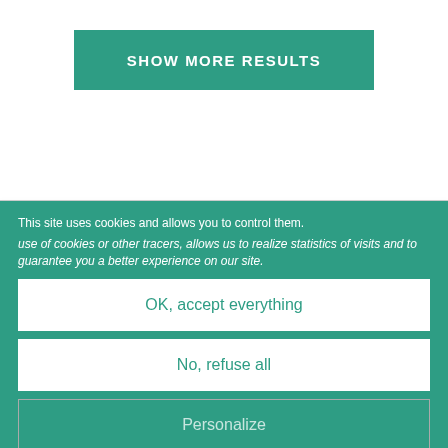SHOW MORE RESULTS
This site uses cookies and allows you to control them.
use of cookies or other tracers, allows us to realize statistics of visits and to guarantee you a better experience on our site.
OK, accept everything
No, refuse all
Personalize